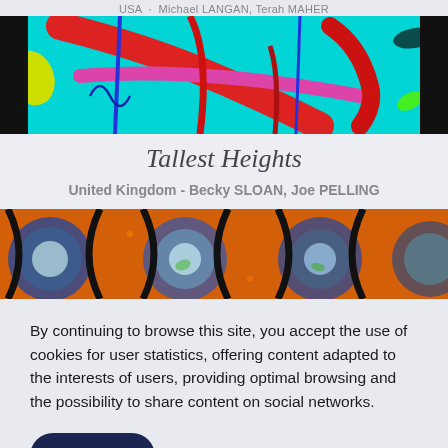USA · Michael LANGAN, Terah MAHER
[Figure (photo): Colorful abstract artwork with red, pink, blue strokes on cyan background]
Tallest Heights
United Kingdom - Becky SLOAN, Joe PELLING
[Figure (photo): Abstract artwork showing circular cell-like patterns in orange and blue tones with black outlines]
By continuing to browse this site, you accept the use of cookies for user statistics, offering content adapted to the interests of users, providing optimal browsing and the possibility to share content on social networks.
I accept!
Tell me more